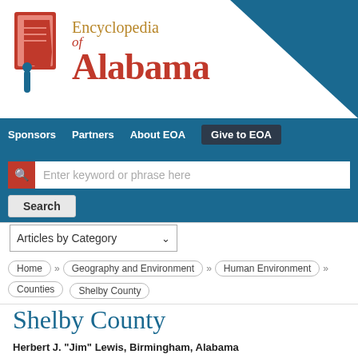[Figure (logo): Encyclopedia of Alabama logo with Alabama state shape in red and blue, and stylized text]
Sponsors   Partners   About EOA   Give to EOA
Enter keyword or phrase here
Search
Articles by Category
Home » Geography and Environment » Human Environment » Counties Shelby County
Shelby County
Herbert J. "Jim" Lewis, Birmingham, Alabama